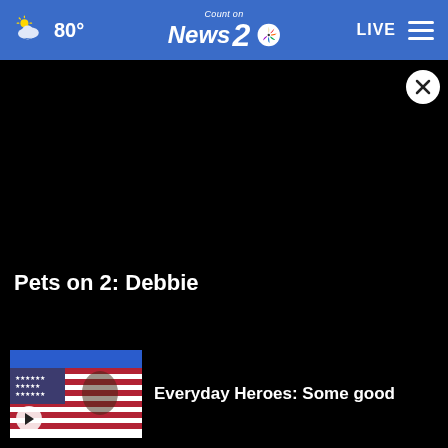80° | Count on News 2 | LIVE
[Figure (screenshot): Black video player area with close button (X) in top right corner]
Pets on 2: Debbie
[Figure (photo): Thumbnail image with blue top bar and American flag image below, with play button]
Everyday Heroes: Some good